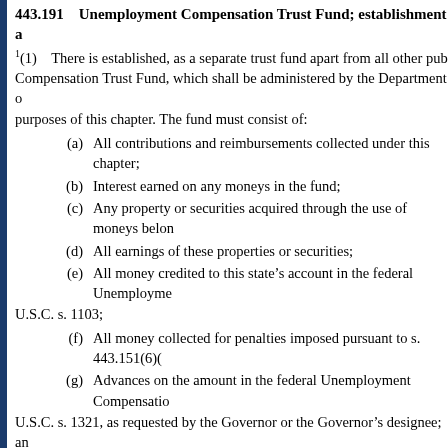443.191    Unemployment Compensation Trust Fund; establishment a...
1(1)    There is established, as a separate trust fund apart from all other pub... Compensation Trust Fund, which shall be administered by the Department o... purposes of this chapter. The fund must consist of:
(a)    All contributions and reimbursements collected under this chapter;
(b)    Interest earned on any moneys in the fund;
(c)    Any property or securities acquired through the use of moneys belon...
(d)    All earnings of these properties or securities;
(e)    All money credited to this state’s account in the federal Unemployme... U.S.C. s. 1103;
(f)    All money collected for penalties imposed pursuant to s. 443.151(6)(...
(g)    Advances on the amount in the federal Unemployment Compensatio... U.S.C. s. 1321, as requested by the Governor or the Governor’s designee; an...
(h)    All money deposited in this account as a distribution pursuant to s. 2...
Except as otherwise provided in s. 443.1313(4), all moneys in the fund must...
(2)    The Chief Financial Officer is the ex officio treasurer and custodian o... accordance with the directions of the Department of Economic Opportunity.... approved by the department or by an authorized agent. The Chief Financial O... separate accounts:
(a)    A clearing account;
(b)    An Unemployment Compensation Trust Fund account; and
(c)    A benefit account.